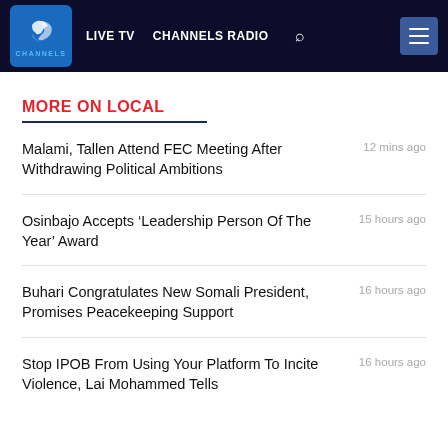CHANNELS — LIVE TV   CHANNELS RADIO
MORE ON LOCAL
Malami, Tallen Attend FEC Meeting After Withdrawing Political Ambitions
Osinbajo Accepts ‘Leadership Person Of The Year’ Award
Buhari Congratulates New Somali President, Promises Peacekeeping Support
Stop IPOB From Using Your Platform To Incite Violence, Lai Mohammed Tells